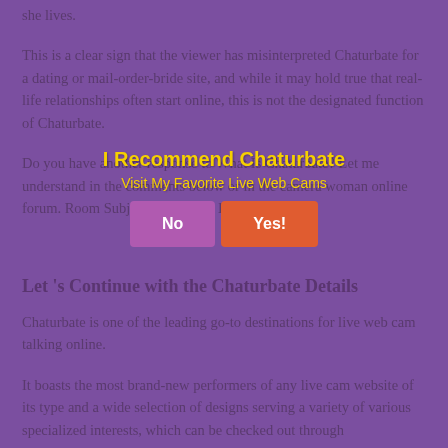she lives.
This is a clear sign that the viewer has misinterpreted Chaturbate for a dating or mail-order-bride site, and while it may hold true that real-life relationships often start online, this is not the designated function of Chaturbate.
Do you have another response to What Is Chaturbate? Let me understand in the comments below or in the camera woman online forum. Room Subject Chaturbate How To Change
[Figure (infographic): Overlay promotional box with title 'I Recommend Chaturbate', subtitle 'Visit My Favorite Live Web Cams', and two buttons: No (purple) and Yes (orange-red)]
Let 's Continue with the Chaturbate Details
Chaturbate is one of the leading go-to destinations for live web cam talking online.
It boasts the most brand-new performers of any live cam website of its type and a wide selection of designs serving a variety of various specialized interests, which can be checked out through